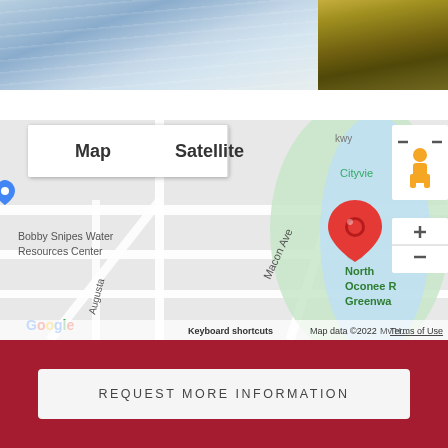[Figure (photo): Split photo showing water/lake with ripples on the left and dry grass/terrain on the right]
[Figure (map): Google Maps screenshot showing location near Bobby Snipes Water Resources Center, with Macon Ave and Augusta road visible, red location pin marker, Map and Satellite toggle buttons, zoom controls, pegman icon, North Oconee Greenway visible, Google logo, Keyboard shortcuts, Map data ©2022, Terms of Use text]
REQUEST MORE INFORMATION